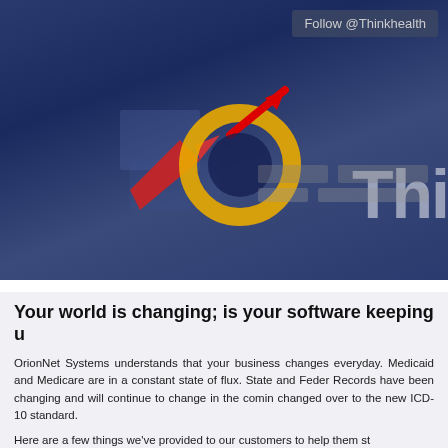[Figure (screenshot): ThinkHealth website header banner with dark blue gradient background, rocket/ring logo with red arrow, and partial 'Thi' text logo on right]
Follow @Thinkhealth
Thinkhealth   Go Mobile   What We Offer   Clients & Partners
Your world is changing; is your software keeping u
OrionNet Systems understands that your business changes everyday. Medicaid and Medicare are in a constant state of flux. State and Federal Records have been changing and will continue to change in the coming changed over to the new ICD-10 standard.
Here are a few things we've provided to our customers to help them st
We've released ThinkHealth Practice Management "EHR" a cer
Built on top of ThinkHealth, the current and using a